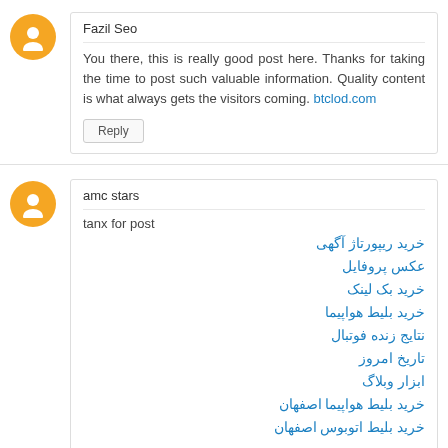Fazil Seo
You there, this is really good post here. Thanks for taking the time to post such valuable information. Quality content is what always gets the visitors coming. btclod.com
Reply
amc stars
tanx for post
خرید ریپورتاژ آگهی
عکس پروفایل
خرید بک لینک
خرید بلیط هواپیما
نتایج زنده فوتبال
تاریخ امروز
ابزار وبلاگ
خرید بلیط هواپیما اصفهان
خرید بلیط اتوبوس اصفهان
Reply